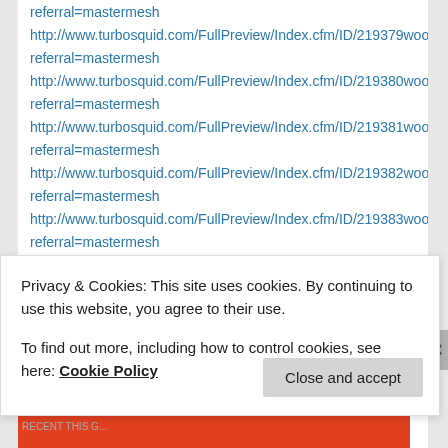referral=mastermesh
http://www.turbosquid.com/FullPreview/Index.cfm/ID/219379wood02
referral=mastermesh
http://www.turbosquid.com/FullPreview/Index.cfm/ID/219380wood01
referral=mastermesh
http://www.turbosquid.com/FullPreview/Index.cfm/ID/219381wood02
referral=mastermesh
http://www.turbosquid.com/FullPreview/Index.cfm/ID/219382wood01
referral=mastermesh
http://www.turbosquid.com/FullPreview/Index.cfm/ID/219383wood02
referral=mastermesh
http://www.turbosquid.com/FullPreview/Index.cfm/ID/219384wood01
referral=mastermesh
http://www.turbosquid.com/FullPreview/Index.cfm/ID/219385wood02
Privacy & Cookies: This site uses cookies. By continuing to use this website, you agree to their use.
To find out more, including how to control cookies, see here: Cookie Policy